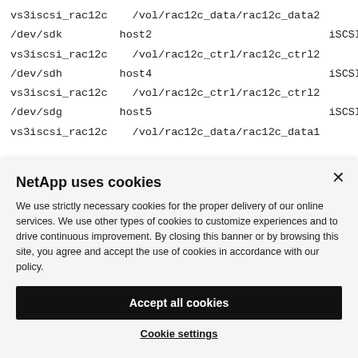| vs3iscsi_rac12c | /vol/rac12c_data/rac12c_data2 |
| /dev/sdk | host2 | iSCSI | 12g | cDOT |
| vs3iscsi_rac12c | /vol/rac12c_ctrl/rac12c_ctrl2 |
| /dev/sdh | host4 | iSCSI | 1g | cDOT |
| vs3iscsi_rac12c | /vol/rac12c_ctrl/rac12c_ctrl2 |
| /dev/sdg | host5 | iSCSI | 1g | cDOT |
| vs3iscsi_rac12c | /vol/rac12c_data/rac12c_data1 |
NetApp uses cookies
We use strictly necessary cookies for the proper delivery of our online services. We use other types of cookies to customize experiences and to drive continuous improvement. By closing this banner or by browsing this site, you agree and accept the use of cookies in accordance with our policy.
Accept all cookies
Cookie settings